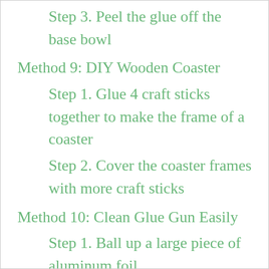Step 3. Peel the glue off the base bowl
Method 9: DIY Wooden Coaster
Step 1. Glue 4 craft sticks together to make the frame of a coaster
Step 2. Cover the coaster frames with more craft sticks
Method 10: Clean Glue Gun Easily
Step 1. Ball up a large piece of aluminum foil